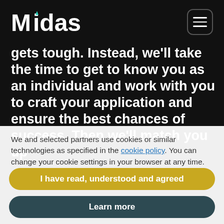[Figure (logo): Midas logo in white text with teal accent on dark background]
gets tough. Instead, we'll take the time to get to know you as an individual and work with you to craft your application and ensure the best chances of success. Then we'll match you up
We and selected partners use cookies or similar technologies as specified in the cookie policy. You can change your cookie settings in your browser at any time.
I have read, understood and agreed
Learn more